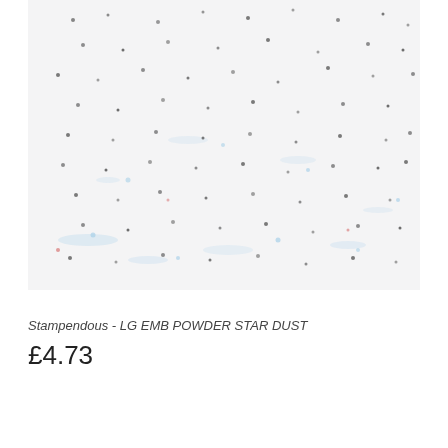[Figure (photo): Close-up photo of glitter/embossing powder with white background and scattered blue, silver, and dark speckles — product shot of Stampendous LG EMB POWDER STAR DUST]
Stampendous - LG EMB POWDER STAR DUST
£4.73
[Figure (other): Pagination dots: 18 dots in a row with the first dot filled black (active) and the rest grey; plus 2 additional grey dots in a second partial row below]